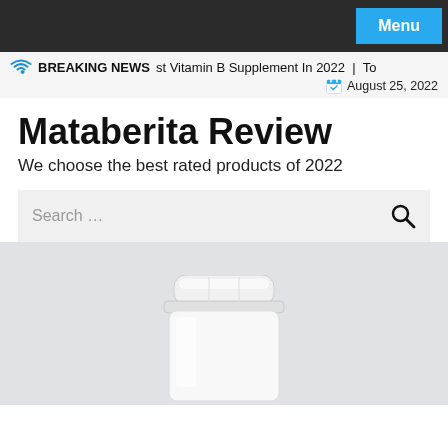Menu
BREAKING NEWS  st Vitamin B Supplement In 2022  |  To  August 25, 2022
Mataberita Review
We choose the best rated products of 2022
Search …
[Figure (photo): Supplement bottle with white cap on light gray background]